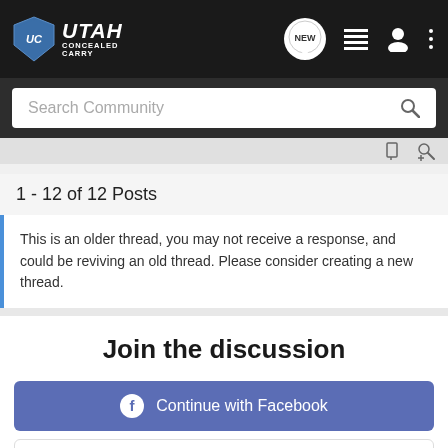[Figure (logo): Utah Concealed Carry logo with navigation icons (NEW badge, list, user, menu)]
Search Community
1 - 12 of 12 Posts
This is an older thread, you may not receive a response, and could be reviving an old thread. Please consider creating a new thread.
Join the discussion
Continue with Facebook
Continue with Google
[Figure (other): Kel-Tec CP33 pistol advertisement banner: SEEKING LONG RANGE RELATIONSHIP with Buy Now button]